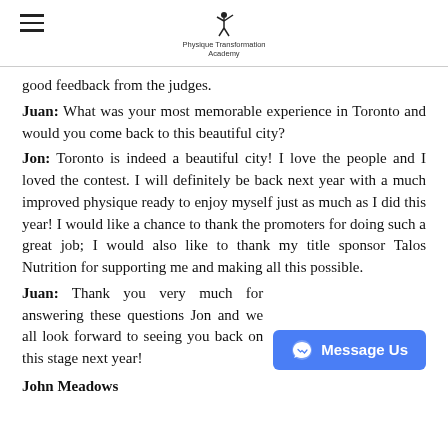Physique Transformation Academy
good feedback from the judges.
Juan: What was your most memorable experience in Toronto and would you come back to this beautiful city?
Jon: Toronto is indeed a beautiful city! I love the people and I loved the contest. I will definitely be back next year with a much improved physique ready to enjoy myself just as much as I did this year! I would like a chance to thank the promoters for doing such a great job; I would also like to thank my title sponsor Talos Nutrition for supporting me and making all this possible.
Juan: Thank you very much for answering these questions Jon and we all look forward to seeing you back on this stage next year!
John Meadows